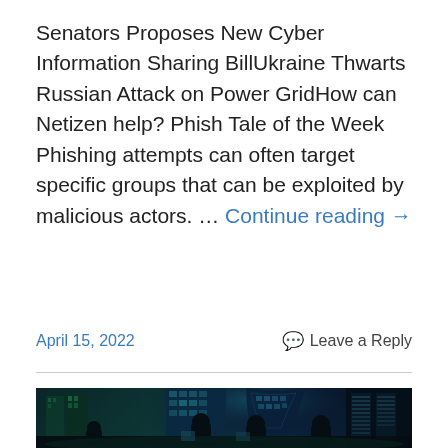Senators Proposes New Cyber Information Sharing BillUkraine Thwarts Russian Attack on Power GridHow can Netizen help? Phish Tale of the Week Phishing attempts can often target specific groups that can be exploited by malicious actors. … Continue reading →
April 15, 2022   Leave a Reply
[Figure (photo): Dark silhouettes of people working at computers in a high-tech office with a glowing blue-green city skyline visible through large glass windows at night.]